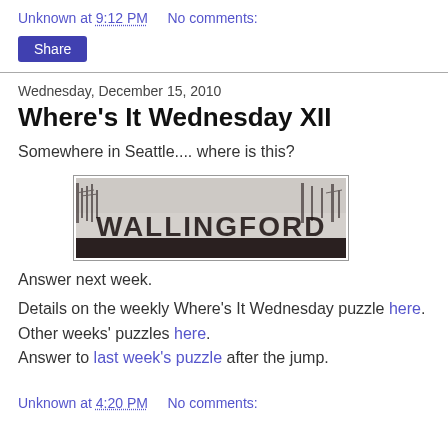Unknown at 9:12 PM    No comments:
Share
Wednesday, December 15, 2010
Where's It Wednesday XII
Somewhere in Seattle.... where is this?
[Figure (photo): Black and white photo of a sign reading WALLINGFORD with bare trees in the background]
Answer next week.
Details on the weekly Where's It Wednesday puzzle here. Other weeks' puzzles here. Answer to last week's puzzle after the jump.
Unknown at 4:20 PM    No comments: